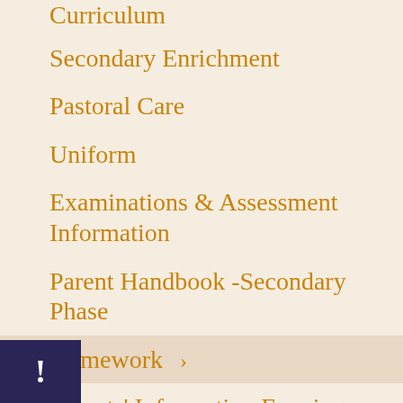Curriculum
Secondary Enrichment
Pastoral Care
Uniform
Examinations & Assessment Information
Parent Handbook -Secondary Phase
Homework ›
Parents' Information Evenings